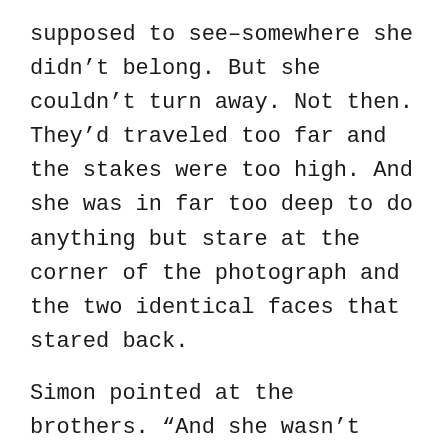supposed to see–somewhere she didn't belong. But she couldn't turn away. Not then. They'd traveled too far and the stakes were too high. And she was in far too deep to do anything but stare at the corner of the photograph and the two identical faces that stared back.
Simon pointed at the brothers. “And she wasn't alone.”
CHAPTER 27
Kat vaguely remembered getting dressed.